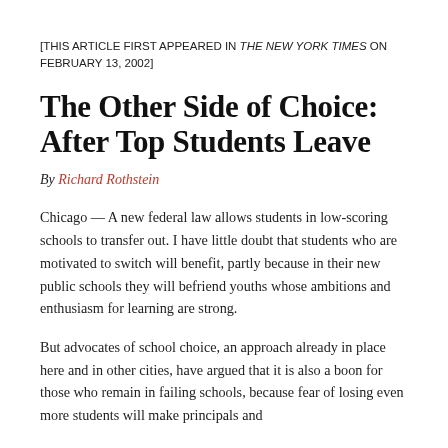[THIS ARTICLE FIRST APPEARED IN THE NEW YORK TIMES ON FEBRUARY 13, 2002]
The Other Side of Choice: After Top Students Leave
By Richard Rothstein
Chicago — A new federal law allows students in low-scoring schools to transfer out. I have little doubt that students who are motivated to switch will benefit, partly because in their new public schools they will befriend youths whose ambitions and enthusiasm for learning are strong.
But advocates of school choice, an approach already in place here and in other cities, have argued that it is also a boon for those who remain in failing schools, because fear of losing even more students will make principals and